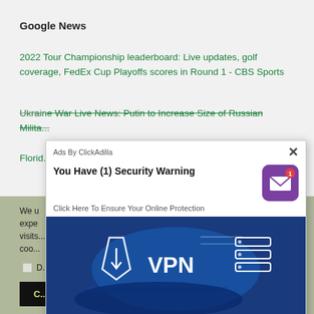Google News
2022 Tour Championship leaderboard: Live updates, golf coverage, FedEx Cup Playoffs scores in Round 1 - CBS Sports
Ukraine War Live News: Putin to Increase Size of Russian Milita...
Florid... e
We u... ant expe... the visits... cookie...
[Figure (screenshot): Ad overlay with security warning 'You Have (1) Security Warning' and 'Click Here To Ensure Your Online Protection', showing a VPN image with a person at laptop, labeled 'Ads By ClickAdilla']